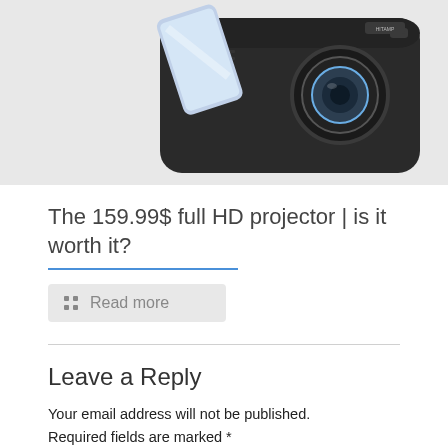[Figure (photo): Partial view of a black portable projector with a smartphone leaning against it, top portion of the image, cropped]
The 159.99$ full HD projector | is it worth it?
Read more
Leave a Reply
Your email address will not be published. Required fields are marked *